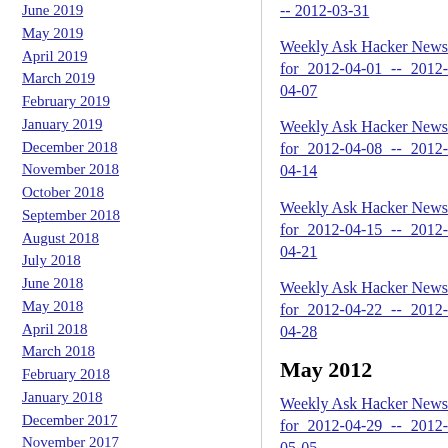June 2019
May 2019
April 2019
March 2019
February 2019
January 2019
December 2018
November 2018
October 2018
September 2018
August 2018
July 2018
June 2018
May 2018
April 2018
March 2018
February 2018
January 2018
December 2017
November 2017
October 2017
September 2017
August 2017
-- 2012-03-31
Weekly Ask Hacker News for 2012-04-01 -- 2012-04-07
Weekly Ask Hacker News for 2012-04-08 -- 2012-04-14
Weekly Ask Hacker News for 2012-04-15 -- 2012-04-21
Weekly Ask Hacker News for 2012-04-22 -- 2012-04-28
May 2012
Weekly Ask Hacker News for 2012-04-29 -- 2012-05-05
Weekly Ask Hacker News for 2012-05-06